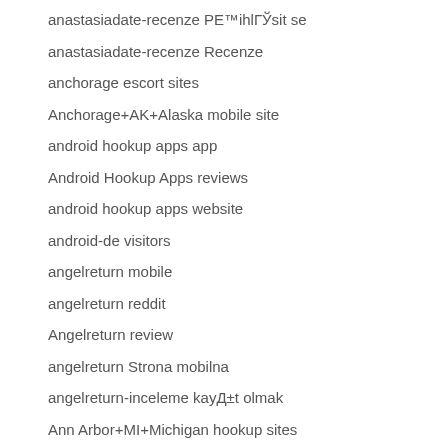anastasiadate-recenze PЕ™ihlГЎsit se
anastasiadate-recenze Recenze
anchorage escort sites
Anchorage+AK+Alaska mobile site
android hookup apps app
Android Hookup Apps reviews
android hookup apps website
android-de visitors
angelreturn mobile
angelreturn reddit
Angelreturn review
angelreturn Strona mobilna
angelreturn-inceleme kayД±t olmak
Ann Arbor+MI+Michigan hookup sites
anonymous tinder app